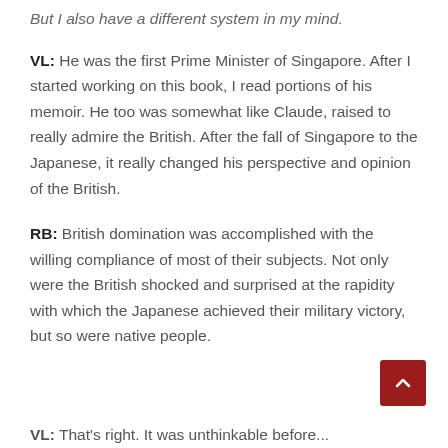But I also have a different system in my mind.
VL: He was the first Prime Minister of Singapore. After I started working on this book, I read portions of his memoir. He too was somewhat like Claude, raised to really admire the British. After the fall of Singapore to the Japanese, it really changed his perspective and opinion of the British.
RB: British domination was accomplished with the willing compliance of most of their subjects. Not only were the British shocked and surprised at the rapidity with which the Japanese achieved their military victory, but so were native people.
VL: That's right. It was unthinkable before...